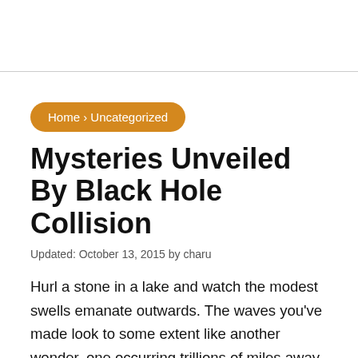Home › Uncategorized
Mysteries Unveiled By Black Hole Collision
Updated: October 13, 2015 by charu
Hurl a stone in a lake and watch the modest swells emanate outwards. The waves you've made look to some extent like another wonder, one occurring trillions of miles away at the focal point of a cosmic system. The distinction is, when two Black Holes